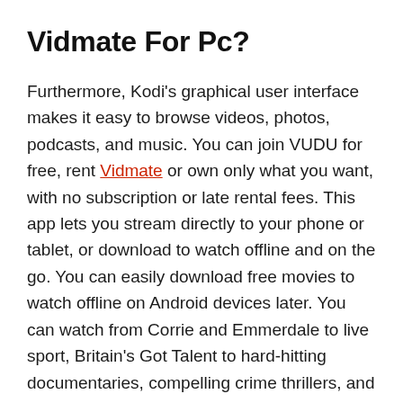Vidmate For Pc?
Furthermore, Kodi’s graphical user interface makes it easy to browse videos, photos, podcasts, and music. You can join VUDU for free, rent Vidmate or own only what you want, with no subscription or late rental fees. This app lets you stream directly to your phone or tablet, or download to watch offline and on the go. You can easily download free movies to watch offline on Android devices later. You can watch from Corrie and Emmerdale to live sport, Britain’s Got Talent to hard-hitting documentaries, compelling crime thrillers, and all.
If you an Instagram user and want to download videos from Instagram to your android phone, you